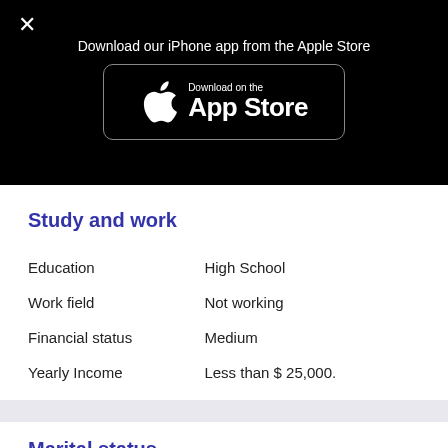[Figure (screenshot): App Store download button with Apple logo, white text 'Download on the App Store' on black background with rounded border]
Download our iPhone app from the Apple Store
Study and work
| Education | High School |
| Work field | Not working |
| Financial status | Medium |
| Yearly Income | Less than $ 25,000. |
Marital status